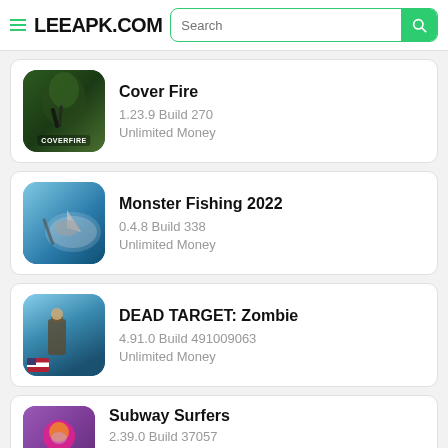LEEAPK.COM Search
Cover Fire
1.23.9 Build 270
Unlimited Money
Monster Fishing 2022
0.4.8 Build 338
Unlimited Money
DEAD TARGET: Zombie
4.91.0 Build 491009063
Unlimited Money
Subway Surfers
2.39.0 Build 37057
Unlimited Coins/Keys